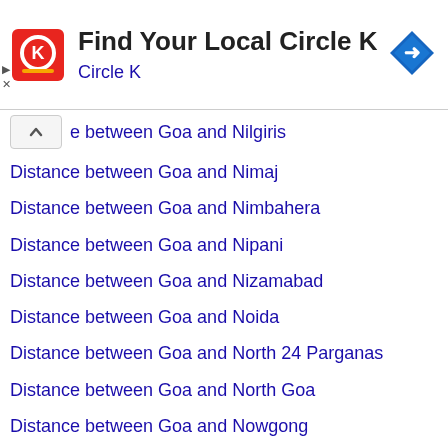[Figure (logo): Circle K advertisement banner with logo, title 'Find Your Local Circle K', subtitle 'Circle K', and a blue navigation diamond icon on the right]
e between Goa and Nilgiris
Distance between Goa and Nimaj
Distance between Goa and Nimbahera
Distance between Goa and Nipani
Distance between Goa and Nizamabad
Distance between Goa and Noida
Distance between Goa and North 24 Parganas
Distance between Goa and North Goa
Distance between Goa and Nowgong
Distance between Goa and Nubra
Distance between Goa and Nubra Valley
Distance between Goa and Nurpur
Distance between Goa and Omkareshwar
Distance between Goa and Ongole
Distance between Goa and Ooty